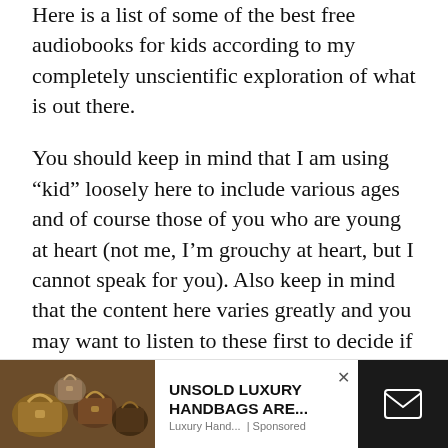Here is a list of some of the best free audiobooks for kids according to my completely unscientific exploration of what is out there.
You should keep in mind that I am using “kid” loosely here to include various ages and of course those of you who are young at heart (not me, I’m grouchy at heart, but I cannot speak for you). Also keep in mind that the content here varies greatly and you may want to listen to these first to decide if they work for you and your target audience. Caveat lector as I think my middle school Latin teacher would say.
[Figure (photo): Advertisement banner showing luxury handbags photo on left, text 'UNSOLD LUXURY HANDBAGS ARE...' with source 'Luxury Hand... | Sponsored' in center, close button X, and dark email/envelope icon area on right]